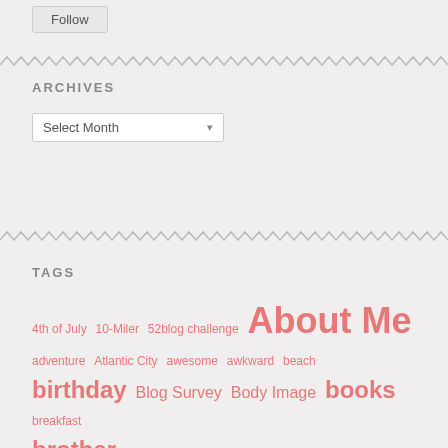Follow
ARCHIVES
Select Month
TAGS
4th of July 10-Miler 52blog challenge About Me adventure Atlantic City awesome awkward beach birthday Blog Survey Body Image books breakfast brother bucket list challenges changes Christmas clothes DC dessert Easter fall family